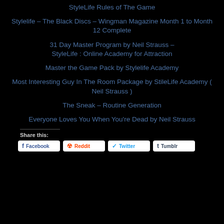StyleLife Rules of The Game
Stylelife – The Black Discs – Wingman Magazine Month 1 to Month 12 Complete
31 Day Master Program by Neil Strauss – StyleLife : Online Academy for Attraction
Master the Game Pack by Stylelife Academy
Most Interesting Guy In The Room Package by StileLife Academy ( Neil Strauss )
The Sneak – Routine Generation
Everyone Loves You When You're Dead by Neil Strauss
Share this:
Facebook Reddit Twitter Tumblr